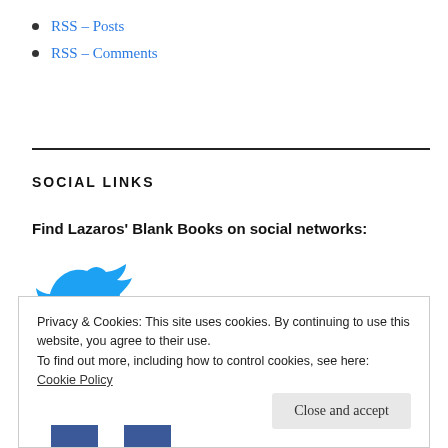RSS – Posts
RSS – Comments
SOCIAL LINKS
Find Lazaros' Blank Books on social networks:
[Figure (illustration): Twitter bird logo in blue]
Privacy & Cookies: This site uses cookies. By continuing to use this website, you agree to their use.
To find out more, including how to control cookies, see here:
Cookie Policy
Close and accept